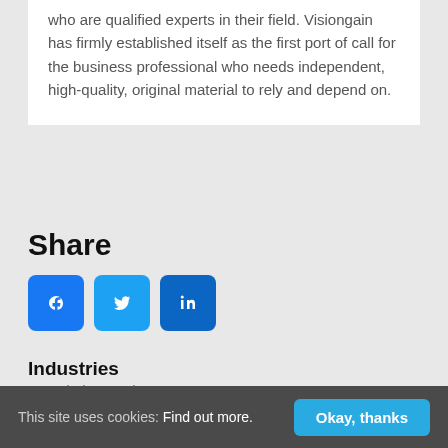who are qualified experts in their field. Visiongain has firmly established itself as the first port of call for the business professional who needs independent, high-quality, original material to rely and depend on.
Share
[Figure (illustration): Social sharing icons: Facebook (blue square with f), Twitter (light blue square with bird), LinkedIn (blue square with in)]
[Figure (illustration): Purple circular chat bubble icon in top-right area]
Industries
3D Printing Market
Automotive
This site uses cookies: Find out more.